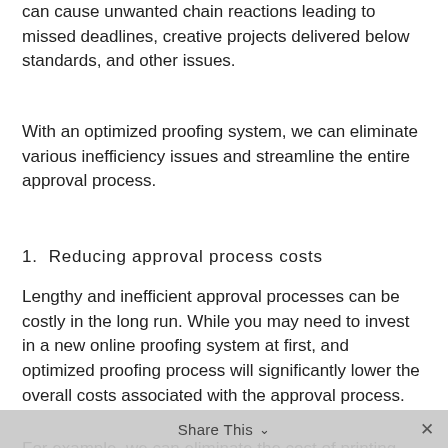can cause unwanted chain reactions leading to missed deadlines, creative projects delivered below standards, and other issues.
With an optimized proofing system, we can eliminate various inefficiency issues and streamline the entire approval process.
1.  Reducing approval process costs
Lengthy and inefficient approval processes can be costly in the long run. While you may need to invest in a new online proofing system at first, and optimized proofing process will significantly lower the overall costs associated with the approval process.
For example, we can eliminate the cost of printing and distributing printed documents, which is common in a traditional paper-based approval process. Also, by ensuring an efficient approval process, we can ensure the project
Share This ∨  ×